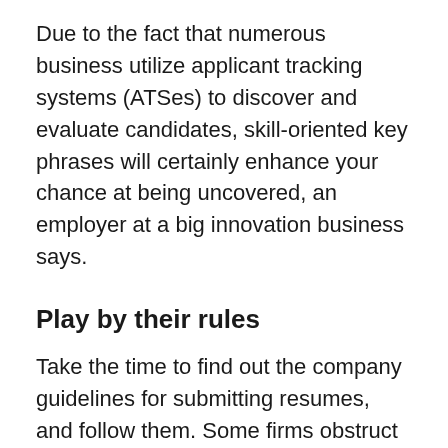Due to the fact that numerous business utilize applicant tracking systems (ATSes) to discover and evaluate candidates, skill-oriented key phrases will certainly enhance your chance at being uncovered, an employer at a big innovation business says.
Play by their rules
Take the time to find out the company guidelines for submitting resumes, and follow them. Some firms obstruct all emails with accessories to protect against infections.
Examine it again